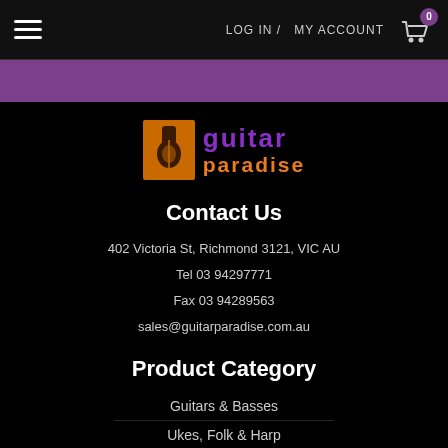LOG IN / MY ACCOUNT  0
[Figure (logo): Guitar Paradise logo with orange guitar icon and purple/orange text]
Contact Us
402 Victoria St, Richmond 3121, VIC AU
Tel 03 94297771
Fax 03 94289563
sales@guitarparadise.com.au
Product Category
Guitars & Basses
Ukes, Folk & Harp
Amplifiers